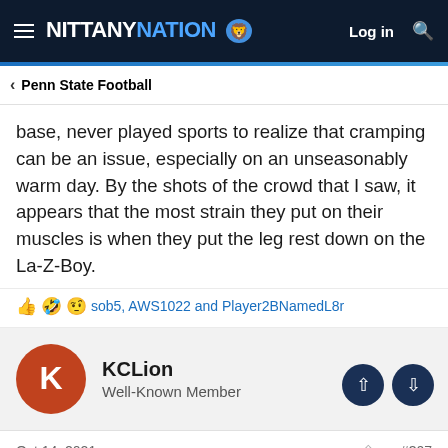NITTANY NATION — Log in
Penn State Football
base, never played sports to realize that cramping can be an issue, especially on an unseasonably warm day. By the shots of the crowd that I saw, it appears that the most strain they put on their muscles is when they put the leg rest down on the La-Z-Boy.
sob5, AWS1022 and Player2BNamedL8r
KCLion
Well-Known Member
Oct 14, 2021
#307
hawkbirch said: